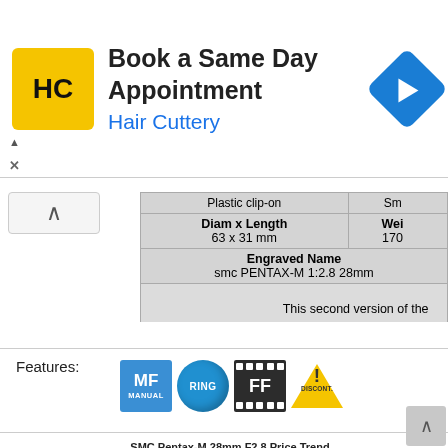[Figure (other): Hair Cuttery advertisement banner: yellow HC logo, 'Book a Same Day Appointment' headline, 'Hair Cuttery' subtitle in blue, blue navigation arrow icon on right, close/ad indicators on left]
| Plastic clip-on | Sm... |
| --- | --- |
| Diam x Length | Wei... |
| 63 x 31 mm | 170... |
| Engraved Name |  |
| smc PENTAX-M 1:2.8 28mm |  |
| This second version of the... |  |
Features:
[Figure (other): Feature icons: MF MANUAL (blue square), RING (blue circle), FF (film strip icon, dark), DISCONT. (yellow warning triangle)]
[Figure (line-chart): Line chart showing price trend over time for SMC Pentax-M 28mm F2.8, with y-axis showing values 100 and 150 visible, price spikes visible in the right portion of the chart reaching above 100 USD]